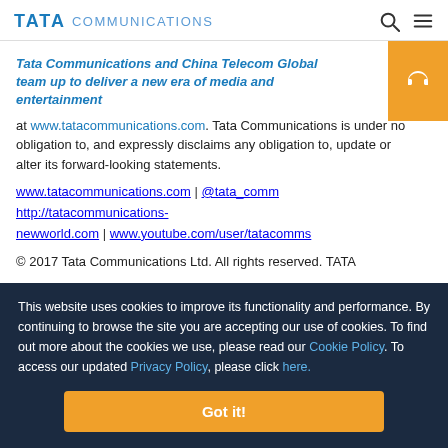TATA COMMUNICATIONS
Tata Communications and China Telecom Global team up to deliver a new era of media and entertainment
at www.tatacommunications.com. Tata Communications is under no obligation to, and expressly disclaims any obligation to, update or alter its forward-looking statements.
www.tatacommunications.com | @tata_comm http://tatacommunications-newworld.com | www.youtube.com/user/tatacomms
© 2017 Tata Communications Ltd. All rights reserved. TATA
This website uses cookies to improve its functionality and performance. By continuing to browse the site you are accepting our use of cookies. To find out more about the cookies we use, please read our Cookie Policy. To access our updated Privacy Policy, please click here.